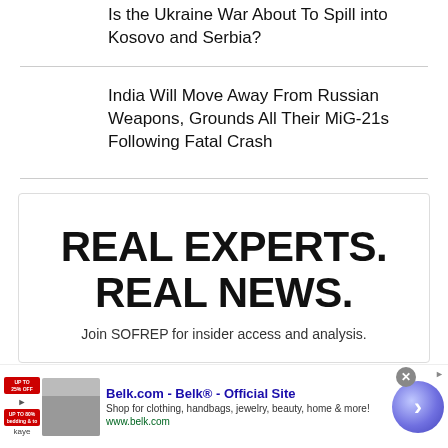Is the Ukraine War About To Spill into Kosovo and Serbia?
India Will Move Away From Russian Weapons, Grounds All Their MiG-21s Following Fatal Crash
[Figure (infographic): Advertisement box: REAL EXPERTS. REAL NEWS. Join SOFREP for insider access and analysis.]
[Figure (infographic): Banner ad for Belk.com - Belk® - Official Site. Shop for clothing, handbags, jewelry, beauty, home & more! www.belk.com. With close button and arrow CTA.]